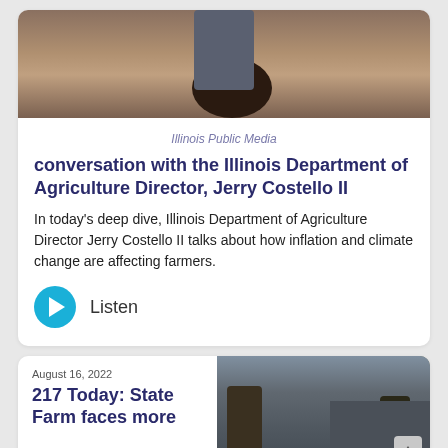[Figure (photo): Photo of a person sitting at a round dark table with items on it, viewed from above/side]
Illinois Public Media
conversation with the Illinois Department of Agriculture Director, Jerry Costello II
In today's deep dive, Illinois Department of Agriculture Director Jerry Costello II talks about how inflation and climate change are affecting farmers.
Listen
August 16, 2022
217 Today: State Farm faces more
[Figure (photo): Photo of a building with bare trees in front against a grey sky]